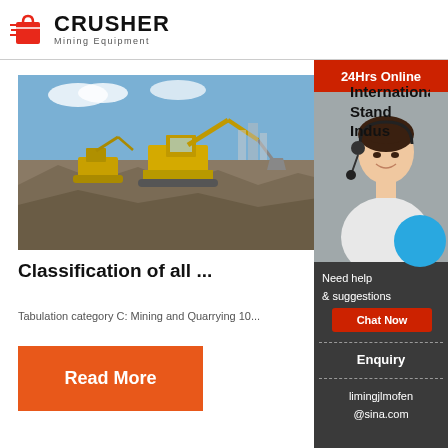[Figure (logo): Crusher Mining Equipment logo with red shopping bag icon and bold CRUSHER text]
[Figure (photo): Excavators and heavy mining equipment working in a quarry or open pit mine]
Classification of all ...
International Standard Industry
Tabulation category C: Mining and Quarrying 10...
Read More
[Figure (infographic): 24Hrs Online customer service sidebar with agent photo, Need help & suggestions text, Chat Now button, Enquiry section, and limingjlmofen@sina.com email]